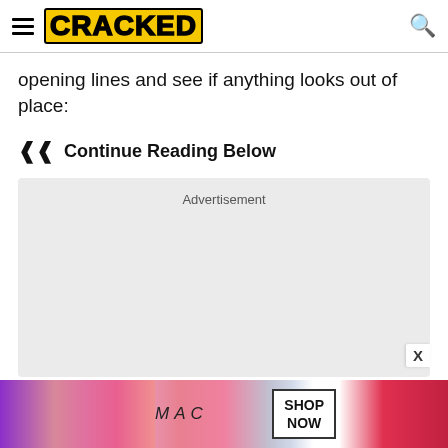CRACKED
opening lines and see if anything looks out of place:
Continue Reading Below
[Figure (other): Advertisement placeholder box with light gray background]
[Figure (other): MAC cosmetics advertisement banner at bottom showing lipsticks, MAC logo, and SHOP NOW button]